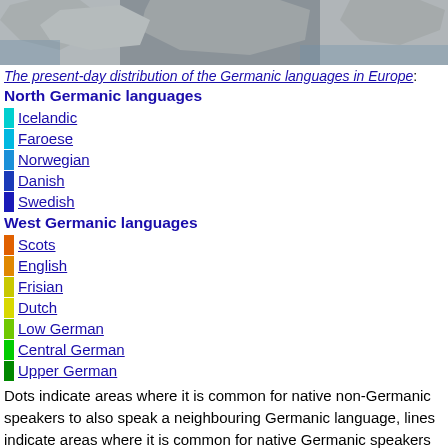[Figure (map): Map showing present-day distribution of Germanic languages in Europe — grayscale map of northern Europe/Atlantic region]
The present-day distribution of the Germanic languages in Europe:
North Germanic languages
Icelandic
Faroese
Norwegian
Danish
Swedish
West Germanic languages
Scots
English
Frisian
Dutch
Low German
Central German
Upper German
Dots indicate areas where it is common for native non-Germanic speakers to also speak a neighbouring Germanic language, lines indicate areas where it is common for native Germanic speakers to also speak a non-Germanic or other neighbouring Germanic language.
West Germanic languages